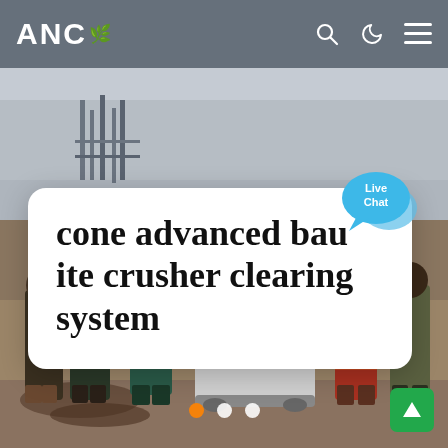ANC
[Figure (photo): Outdoor construction site with workers standing around a cone crusher machine. Overcast sky with rebar structures in background. Sandy ground.]
cone advanced bau ite crusher clearing system
[Figure (illustration): Live Chat speech bubble icon in blue]
[Figure (other): Navigation dots: one orange active dot and two white inactive dots at bottom of slider]
[Figure (other): Green scroll-to-top button with upward arrow icon]